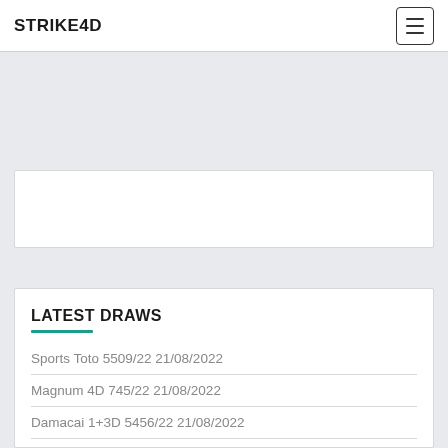STRIKE4D
LATEST DRAWS
Sports Toto 5509/22 21/08/2022
Magnum 4D 745/22 21/08/2022
Damacai 1+3D 5456/22 21/08/2022
CashSweep 4668/22 21/08/2022